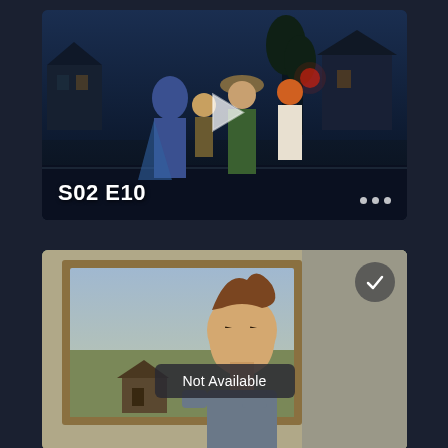[Figure (screenshot): Animated TV show thumbnail showing cartoon characters walking at night in a suburban setting. A play button triangle is overlaid in the center. Bottom-left shows episode label 'S02 E10' in bold white text. Bottom-right shows three white dots (options menu).]
S02 E10
[Figure (screenshot): Animated TV show thumbnail showing a cartoon character (Beavis from Beavis and Butt-Head) standing in front of a framed painting. A checkmark in a grey circle appears top-right. A 'Not Available' label appears as an overlay banner in the center-bottom of the thumbnail.]
Not Available